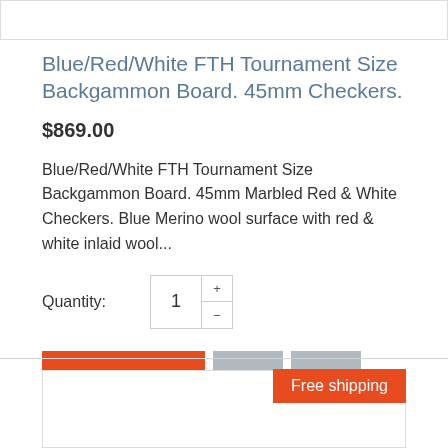[Figure (screenshot): Top bar/header strip at top of page]
Blue/Red/White FTH Tournament Size Backgammon Board. 45mm Checkers.
$869.00
Blue/Red/White FTH Tournament Size Backgammon Board. 45mm Marbled Red & White Checkers. Blue Merino wool surface with red & white inlaid wool...
Quantity: 1
ADD TO CART
Free shipping
[Figure (photo): Product thumbnail image at bottom of page]